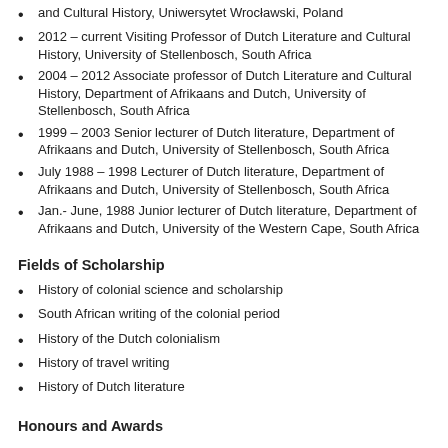and Cultural History, Uniwersytet Wrocławski, Poland
2012 – current Visiting Professor of Dutch Literature and Cultural History, University of Stellenbosch, South Africa
2004 – 2012 Associate professor of Dutch Literature and Cultural History, Department of Afrikaans and Dutch, University of Stellenbosch, South Africa
1999 – 2003 Senior lecturer of Dutch literature, Department of Afrikaans and Dutch, University of Stellenbosch, South Africa
July 1988 – 1998 Lecturer of Dutch literature, Department of Afrikaans and Dutch, University of Stellenbosch, South Africa
Jan.- June, 1988 Junior lecturer of Dutch literature, Department of Afrikaans and Dutch, University of the Western Cape, South Africa
Fields of Scholarship
History of colonial science and scholarship
South African writing of the colonial period
History of the Dutch colonialism
History of travel writing
History of Dutch literature
Honours and Awards